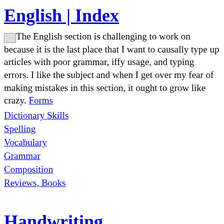English | Index
The English section is challenging to work on because it is the last place that I want to causally type up articles with poor grammar, iffy usage, and typing errors. I like the subject and when I get over my fear of making mistakes in this section, it ought to grow like crazy. Forms
Dictionary Skills
Spelling
Vocabulary
Grammar
Composition
Reviews, Books
Handwriting
The Handwriting section is a popular landing page. I have printable ruled paper, handwriting lessons, animations, font links, & tips. Handwriting is a large section.
By Style
By Manuscript